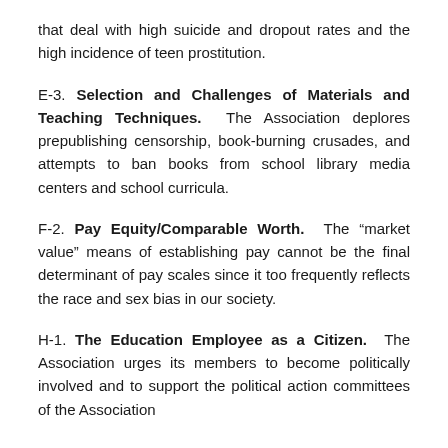that deal with high suicide and dropout rates and the high incidence of teen prostitution.
E-3. Selection and Challenges of Materials and Teaching Techniques. The Association deplores prepublishing censorship, book-burning crusades, and attempts to ban books from school library media centers and school curricula.
F-2. Pay Equity/Comparable Worth. The “market value” means of establishing pay cannot be the final determinant of pay scales since it too frequently reflects the race and sex bias in our society.
H-1. The Education Employee as a Citizen. The Association urges its members to become politically involved and to support the political action committees of the Association